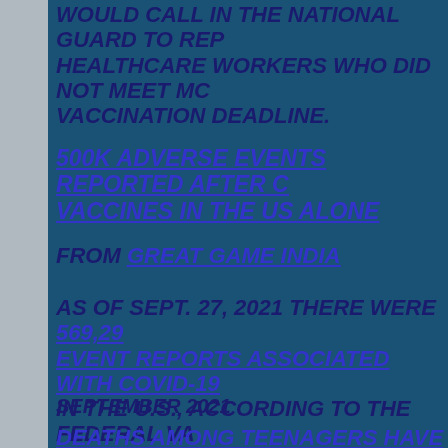would call in the National Guard to replace healthcare workers who did not meet Mo vaccination deadline.
500K Adverse Events Reported After C Vaccines In The US Alone
from Great Game India
As of Sept. 27, 2021 there were 569,29 event reports associated with COVID-19 in the U.S., according to the federal Va Adverse Event Reporting System (VAER
September 2021
Deaths among Teenagers have increased